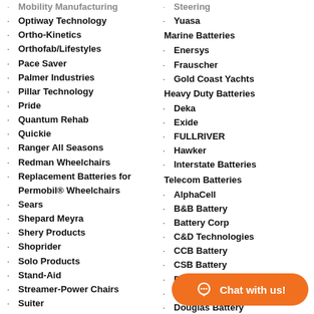Mobility Manufacturing
Optiway Technology
Ortho-Kinetics
Orthofab/Lifestyles
Pace Saver
Palmer Industries
Pillar Technology
Pride
Quantum Rehab
Quickie
Ranger All Seasons
Redman Wheelchairs
Replacement Batteries for Permobil® Wheelchairs
Sears
Shepard Meyra
Shery Products
Shoprider
Solo Products
Stand-Aid
Streamer-Power Chairs
Suiter
Suntech
Teftec
Theradyne
Tuff…
Steering
Yuasa
Marine Batteries
Enersys
Frauscher
Gold Coast Yachts
Heavy Duty Batteries
Deka
Exide
FULLRIVER
Hawker
Interstate Batteries
Telecom Batteries
AlphaCell
B&B Battery
Battery Corp
C&D Technologies
CCB Battery
CSB Battery
Deka Unigy
Discover
Douglas Battery
East…
Eato…
Enersy…
FIAMM…